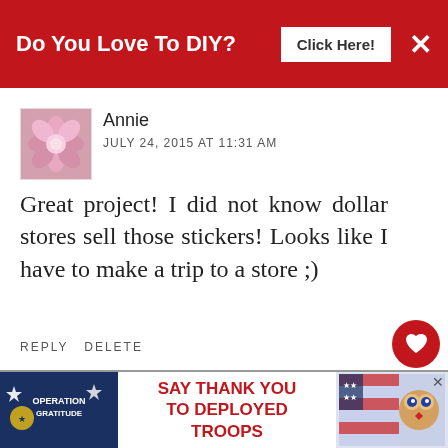[Figure (screenshot): Red banner ad: 'Do You Love To DIY? Click Here!' with white close X button]
[Figure (photo): Pink flower avatar image for user Annie]
Annie
JULY 24, 2015 AT 11:31 AM
Great project! I did not know dollar stores sell those stickers! Looks like I have to make a trip to a store ;)
REPLY DELETE
[Figure (illustration): Red circular heart/like button]
[Figure (illustration): Share button (circular with share icon)]
▾ REPLIES
[Figure (logo): Kim blog logo avatar - green/white with tulip design]
Kim
JULY 28, 2015 AT 11:52 AM
[Figure (screenshot): What's Next widget showing 'Splatter Screen Fall...' with a small icon]
They do, Annie, and a lot
[Figure (screenshot): Ad banner: Operation Gratitude - Say Thank You To Deployed Troops with owl mascot]